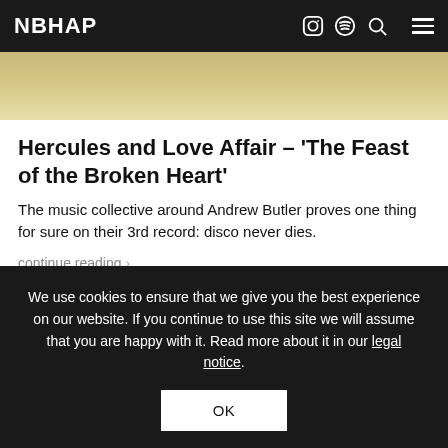NBHAP
[Figure (photo): Partial image visible as a golden/tan colored stripe below the navigation header]
Hercules and Love Affair – ‘The Feast of the Broken Heart’
The music collective around Andrew Butler proves one thing for sure on their 3rd record: disco never dies.
continue reading >
We use cookies to ensure that we give you the best experience on our website. If you continue to use this site we will assume that you are happy with it. Read more about it in our legal notice.